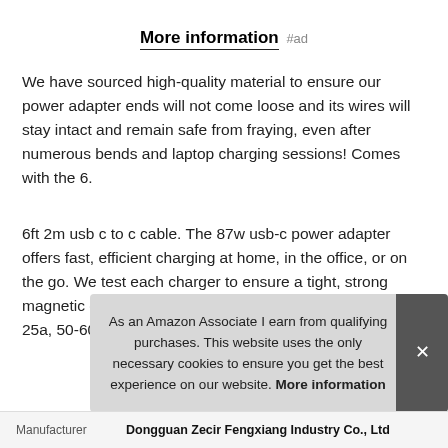More information #ad
We have sourced high-quality material to ensure our power adapter ends will not come loose and its wires will stay intact and remain safe from fraying, even after numerous bends and laptop charging sessions! Comes with the 6.
6ft 2m usb c to c cable. The 87w usb-c power adapter offers fast, efficient charging at home, in the office, or on the go. We test each charger to ensure a tight, strong magnetic connection. Input: ac 100-240v, 9v/3a, 20v/2. 25a, 50-60hz, 18v/
As an Amazon Associate I earn from qualifying purchases. This website uses the only necessary cookies to ensure you get the best experience on our website. More information
| Manufacturer |
| --- |
| Dongguan Zecir Fengxiang Industry Co., Ltd |